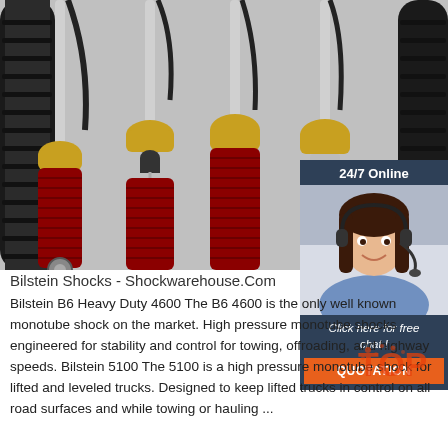[Figure (photo): Product photo of Bilstein shock absorbers with red bodies and gold/brass tops, black coil springs and hydraulic lines, arranged on a gray surface.]
[Figure (photo): Chat widget showing a woman with headset smiling, labeled '24/7 Online' with 'Click here for free chat!' and an orange QUOTATION button, on dark blue background.]
Bilstein Shocks - Shockwarehouse.Com
Bilstein B6 Heavy Duty 4600 The B6 4600 is the only well known monotube shock on the market. High pressure monotube shocks engineered for stability and control for towing, offroading, and highway speeds. Bilstein 5100 The 5100 is a high pressure monotube shock for lifted and leveled trucks. Designed to keep lifted trucks in control on all road surfaces and while towing or hauling ...